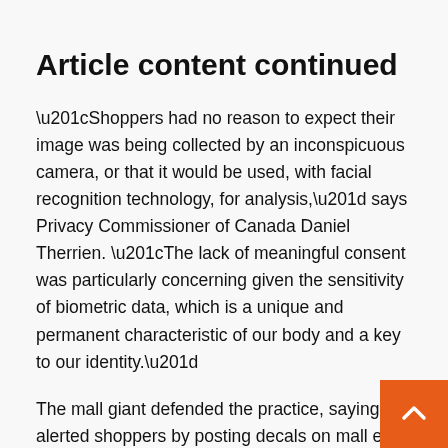Article content continued
“Shoppers had no reason to expect their image was being collected by an inconspicuous camera, or that it would be used, with facial recognition technology, for analysis,” says Privacy Commissioner of Canada Daniel Therrien. “The lack of meaningful consent was particularly concerning given the sensitivity of biometric data, which is a unique and permanent characteristic of our body and a key to our identity.”
The mall giant defended the practice, saying it alerted shoppers by posting decals on mall entry doors that referred to their privacy policy. But the commissioners determined this insufficient. Shoppers were directed by